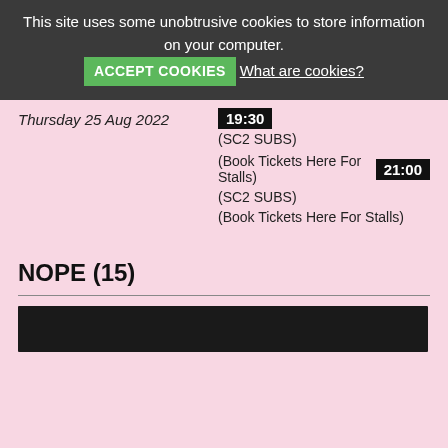This site uses some unobtrusive cookies to store information on your computer.
ACCEPT COOKIES  What are cookies?
Thursday 25 Aug 2022
19:30
(SC2 SUBS)
(Book Tickets Here For Stalls) 21:00
(SC2 SUBS)
(Book Tickets Here For Stalls)
NOPE (15)
[Figure (photo): Dark banner image for NOPE (15) film]